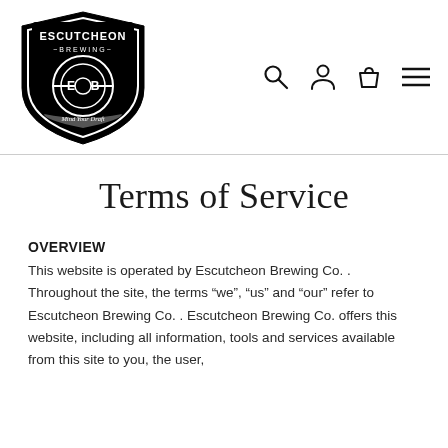[Figure (logo): Escutcheon Brewing Co. shield logo with text 'ESCUTCHEON BREWING', 'E B', and 'Mind Your Draft']
OVERVIEW
Terms of Service
This website is operated by Escutcheon Brewing Co. . Throughout the site, the terms “we”, “us” and “our” refer to Escutcheon Brewing Co. . Escutcheon Brewing Co. offers this website, including all information, tools and services available from this site to you, the user,